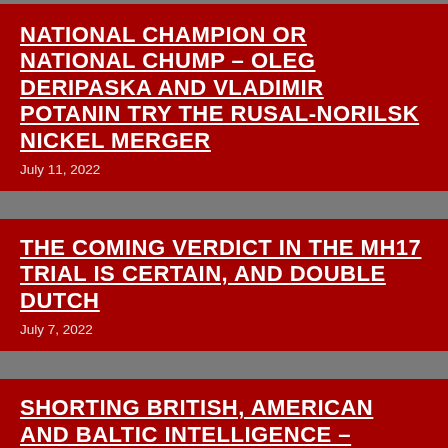NATIONAL CHAMPION OR NATIONAL CHUMP – OLEG DERIPASKA AND VLADIMIR POTANIN TRY THE RUSAL-NORILSK NICKEL MERGER
July 11, 2022
THE COMING VERDICT IN THE MH17 TRIAL IS CERTAIN, AND DOUBLE DUTCH
July 7, 2022
SHORTING BRITISH, AMERICAN AND BALTIC INTELLIGENCE – GOING LONG ON VLADIMIR PUTIN
July 4, 2022